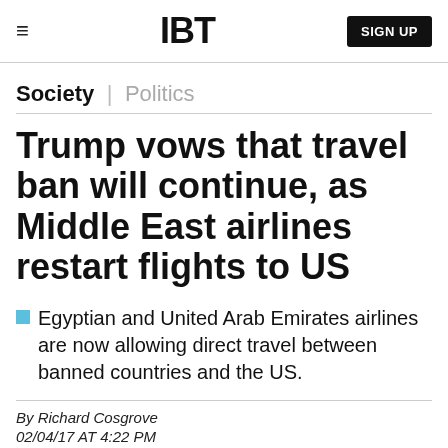IBT | SIGN UP
Society | Politics
Trump vows that travel ban will continue, as Middle East airlines restart flights to US
Egyptian and United Arab Emirates airlines are now allowing direct travel between banned countries and the US.
By Richard Cosgrove
02/04/17 AT 4:22 PM